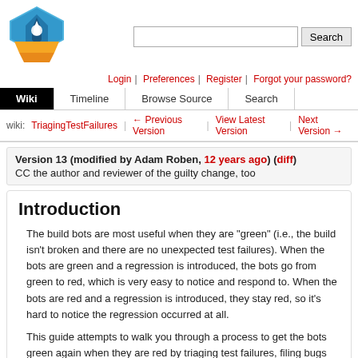[Figure (logo): Diamond/shield shaped logo with blue top layer featuring a white rocket/lightning icon and yellow/orange bottom layers]
Login | Preferences | Register | Forgot your password?
Wiki | Timeline | Browse Source | Search
wiki: TriagingTestFailures ← Previous Version | View Latest Version | Next Version →
Version 13 (modified by Adam Roben, 12 years ago) (diff)
CC the author and reviewer of the guilty change, too
Introduction
The build bots are most useful when they are "green" (i.e., the build isn't broken and there are no unexpected test failures). When the bots are green and a regression is introduced, the bots go from green to red, which is very easy to notice and respond to. When the bots are red and a regression is introduced, they stay red, so it's hard to notice the regression occurred at all.
This guide attempts to walk you through a process to get the bots green again when they are red by triaging test failures, filing bugs on them, and checking in new results or skipping tests.
Find out what is failing
There are two main ways to do this: